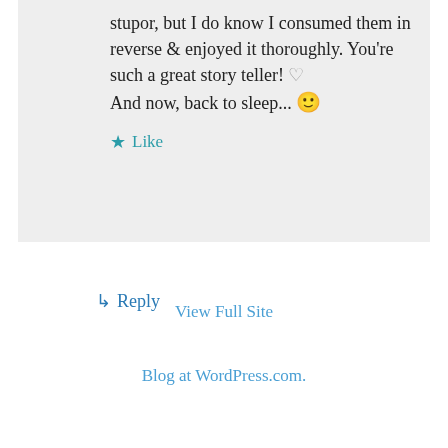stupor, but I do know I consumed them in reverse & enjoyed it thoroughly. You're such a great story teller! ♡ And now, back to sleep... 🙂
★ Like
↳ Reply
View Full Site
Blog at WordPress.com.